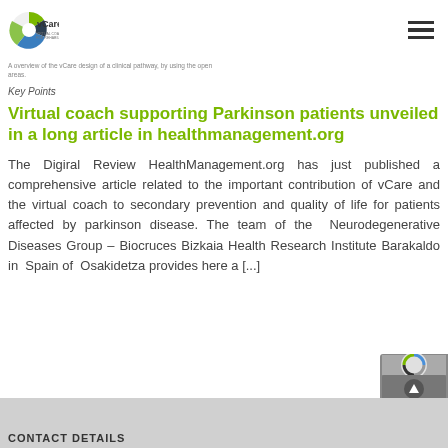vCare – Virtual Coaching Activities for Rehabilitation in Elderly
A overview of the vCare design of a clinical pathway, by using the open areas.
Key Points
Virtual coach supporting Parkinson patients unveiled in a long article in healthmanagement.org
The Digiral Review HealthManagement.org has just published a comprehensive article related to the important contribution of vCare and the virtual coach to secondary prevention and quality of life for patients affected by parkinson disease. The team of the  Neurodegenerative Diseases Group – Biocruces Bizkaia Health Research Institute Barakaldo in  Spain of  Osakidetza provides here a [...]
CONTACT DETAILS